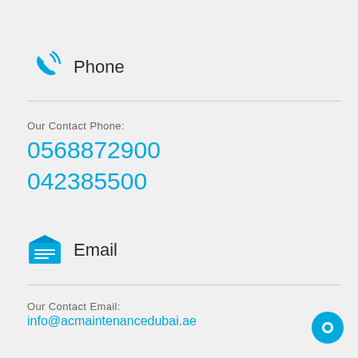Phone
Our Contact Phone:
0568872900
042385500
Email
Our Contact Email:
info@acmaintenancedubai.ae